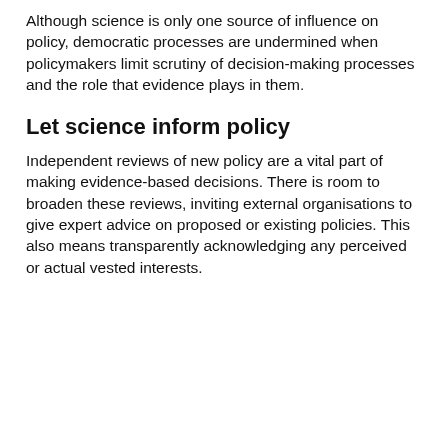Although science is only one source of influence on policy, democratic processes are undermined when policymakers limit scrutiny of decision-making processes and the role that evidence plays in them.
Let science inform policy
Independent reviews of new policy are a vital part of making evidence-based decisions. There is room to broaden these reviews, inviting external organisations to give expert advice on proposed or existing policies. This also means transparently acknowledging any perceived or actual vested interests.